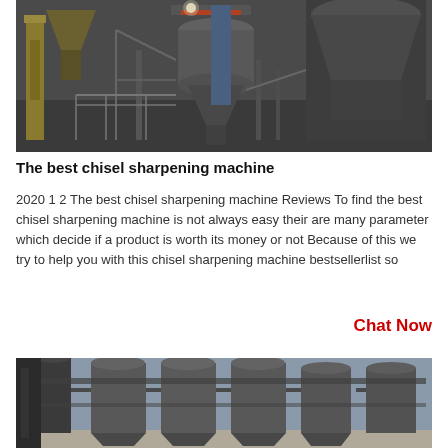[Figure (photo): Industrial machinery interior showing large grinding mill equipment, hoppers, pipes, and metal scaffolding in a factory setting]
The best chisel sharpening machine
2020 1 2 The best chisel sharpening machine Reviews To find the best chisel sharpening machine is not always easy their are many parameter which decide if a product is worth its money or not Because of this we try to help you with this chisel sharpening machine bestsellerlist so
Chat Now
[Figure (photo): Industrial silos and storage tanks with metal framework and piping, photographed outdoors]